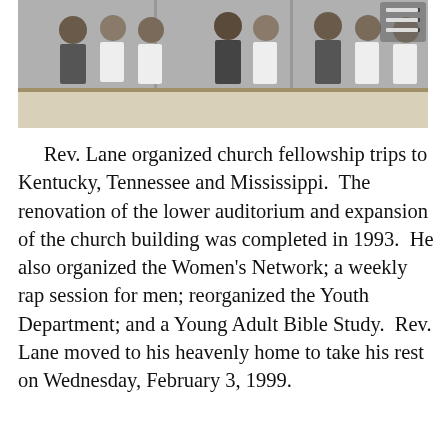[Figure (photo): Black and white photograph showing a group of people seated in a row, appearing to be at a church or formal gathering. Some individuals are wearing white clothing.]
Rev. Lane organized church fellowship trips to Kentucky, Tennessee and Mississippi.  The renovation of the lower auditorium and expansion of the church building was completed in 1993.  He also organized the Women's Network; a weekly rap session for men; reorganized the Youth Department; and a Young Adult Bible Study.  Rev. Lane moved to his heavenly home to take his rest on Wednesday, February 3, 1999.